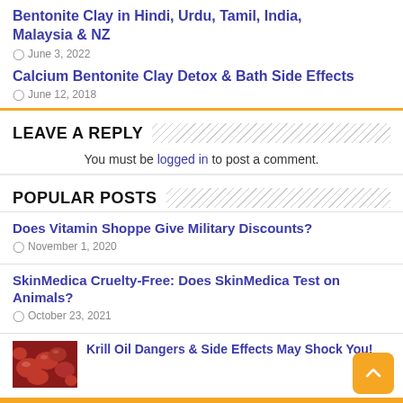Bentonite Clay in Hindi, Urdu, Tamil, India, Malaysia & NZ
June 3, 2022
Calcium Bentonite Clay Detox & Bath Side Effects
June 12, 2018
LEAVE A REPLY
You must be logged in to post a comment.
POPULAR POSTS
Does Vitamin Shoppe Give Military Discounts?
November 1, 2020
SkinMedica Cruelty-Free: Does SkinMedica Test on Animals?
October 23, 2021
Krill Oil Dangers & Side Effects May Shock You!
[Figure (photo): Red krill oil capsules]